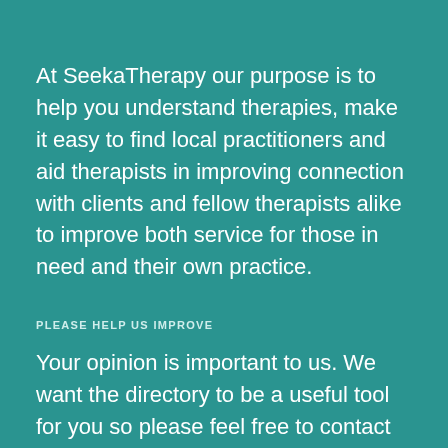At SeekaTherapy our purpose is to help you understand therapies, make it easy to find local practitioners and aid therapists in improving connection with clients and fellow therapists alike to improve both service for those in need and their own practice.
PLEASE HELP US IMPROVE
Your opinion is important to us. We want the directory to be a useful tool for you so please feel free to contact us with your suggestions.
Contact Us